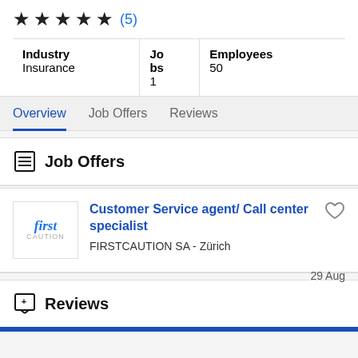★ ★ ★ ★ ★ (5)
| Industry | Jobs | Employees |
| --- | --- | --- |
| Insurance | 1 | 50 |
Overview | Job Offers | Reviews
Job Offers
Customer Service agent/ Call center specialist
FIRSTCAUTION SA - Zürich
29 Aug
Reviews